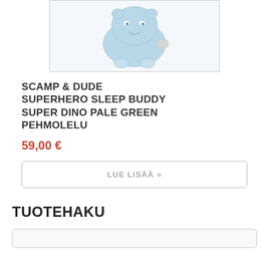[Figure (photo): A pale green dinosaur plush toy (Scamp & Dude superhero sleep buddy) on white background, partially cropped at top, inside a bordered image box.]
SCAMP & DUDE SUPERHERO SLEEP BUDDY SUPER DINO PALE GREEN PEHMOLELU
59,00 €
LUE LISÄÄ »
TUOTEHAKU